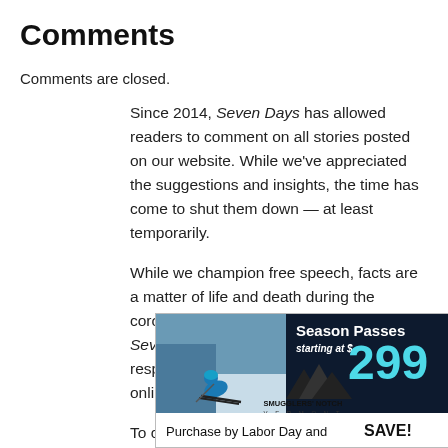Comments
Comments are closed.
Since 2014, Seven Days has allowed readers to comment on all stories posted on our website. While we've appreciated the suggestions and insights, the time has come to shut them down — at least temporarily.
While we champion free speech, facts are a matter of life and death during the coronavirus pandemic, and right now Seven Days is prioritizing the production of responsible journalism over moderating online debates between readers.
To criticize, correct or praise our reporting, please
[Figure (advertisement): Smugglers' Notch Vermont ski resort advertisement. Text reads: Season Passes starting at $299. Purchase by Labor Day and SAVE! Features a skier on a snowy slope and the Smugglers' Notch Vermont mountain logo.]